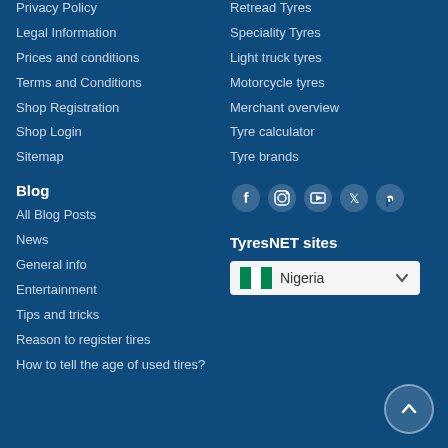Privacy Policy
Legal Information
Prices and conditions
Terms and Conditions
Shop Registration
Shop Login
Sitemap
Blog
All Blog Posts
News
General info
Entertainment
Tips and tricks
Reason to register tires
How to tell the age of used tires?
Retread Tyres
Speciality Tyres
Light truck tyres
Motorcycle tyres
Merchant overview
Tyre calculator
Tyre brands
[Figure (infographic): Social media icons: Facebook, Instagram, YouTube, Twitter, Pinterest]
TyresNET sites
[Figure (infographic): Nigeria country selector dropdown with Nigerian flag]